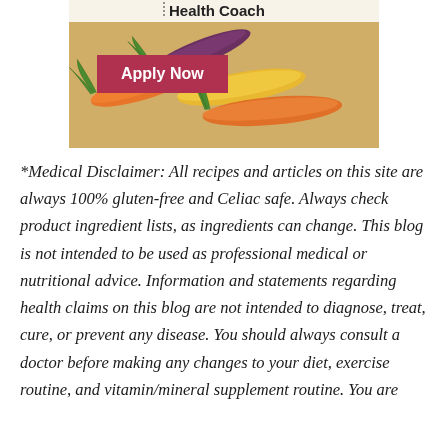[Figure (photo): Photo of colorful carrots (orange, yellow, purple) on a textured surface with a red 'Apply Now' button overlay and partial 'Health Coach' text at top]
*Medical Disclaimer: All recipes and articles on this site are always 100% gluten-free and Celiac safe. Always check product ingredient lists, as ingredients can change. This blog is not intended to be used as professional medical or nutritional advice. Information and statements regarding health claims on this blog are not intended to diagnose, treat, cure, or prevent any disease. You should always consult a doctor before making any changes to your diet, exercise routine, and vitamin/mineral supplement routine. You are